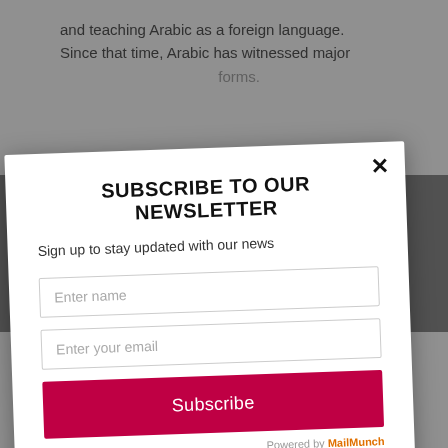and teaching Arabic as a foreign language. Since that time, Arabic has witnessed major … forms.
SUBSCRIBE TO OUR NEWSLETTER
Sign up to stay updated with our news
Enter name
Enter your email
Subscribe
Arabic in Egypt… interconnected areas: Arabic varieties in context, challenges to Badawi's Levels model, and the pedagogical implications of varying
Powered by MailMunch